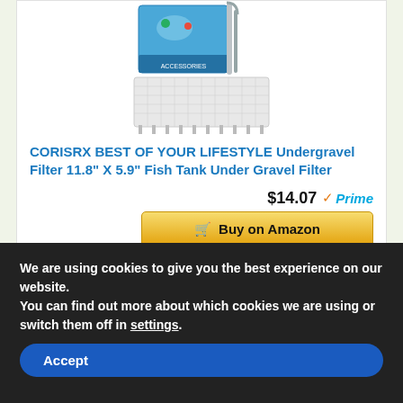[Figure (photo): Product image of an undergravel fish tank filter with box packaging, plastic grid plate, and uplift tubes]
CORISRX BEST OF YOUR LIFESTYLE Undergravel Filter 11.8" X 5.9" Fish Tank Under Gravel Filter
$14.07 ✓Prime
🛒 Buy on Amazon
We are using cookies to give you the best experience on our website.
You can find out more about which cookies we are using or switch them off in settings.
Accept